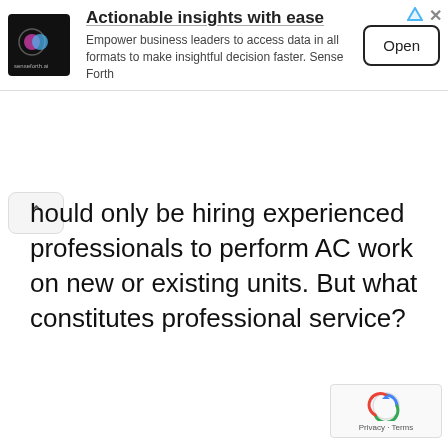[Figure (screenshot): Advertisement banner for senseforth.ai with logo, title 'Actionable insights with ease', description text, and Open button]
hould only be hiring experienced professionals to perform AC work on new or existing units. But what constitutes professional service?